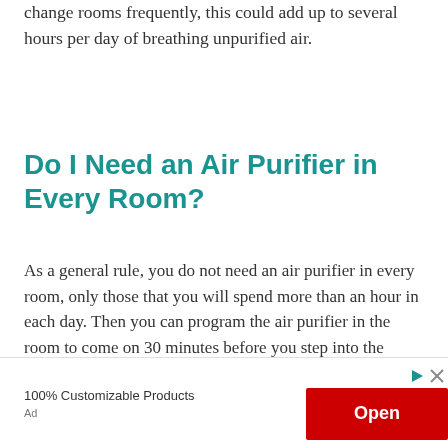change rooms frequently, this could add up to several hours per day of breathing unpurified air.
Do I Need an Air Purifier in Every Room?
As a general rule, you do not need an air purifier in every room, only those that you will spend more than an hour in each day. Then you can program the air purifier in the room to come on 30 minutes before you step into the room. This means that if you have one
[Figure (other): Advertisement banner with '100% Customizable Products' text, an 'Open' red button, and an 'Ad' label.]